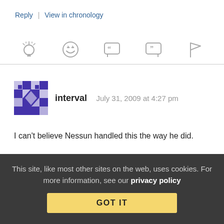Reply | View in chronology
[Figure (infographic): Row of action icons: lightbulb, laughing emoji, open-quote speech bubble, close-quote speech bubble, flag]
interval  July 31, 2009 at 4:27 pm
I can't believe Nessun handled this the way he did.
Reply | View in chronology
This site, like most other sites on the web, uses cookies. For more information, see our privacy policy  GOT IT